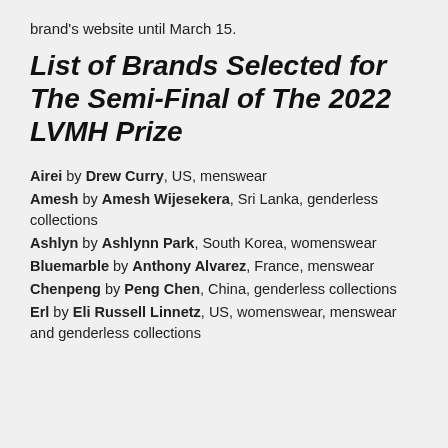brand's website until March 15.
List of Brands Selected for The Semi-Final of The 2022 LVMH Prize
Airei by Drew Curry, US, menswear
Amesh by Amesh Wijesekera, Sri Lanka, genderless collections
Ashlyn by Ashlynn Park, South Korea, womenswear
Bluemarble by Anthony Alvarez, France, menswear
Chenpeng by Peng Chen, China, genderless collections
Erl by Eli Russell Linnetz, US, womenswear, menswear and genderless collections